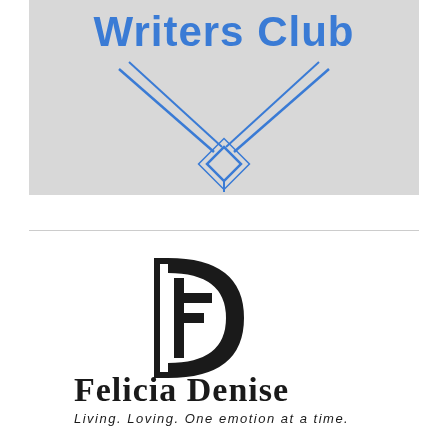[Figure (logo): Writers Club logo with blue text 'Writers Club' and crossed pen/pencil design forming a V shape with a diamond at the bottom, on a light grey background]
[Figure (logo): Felicia Denise logo with stylized FD monogram in black and text 'Felicia Denise' with tagline 'Living. Loving. One emotion at a time.']